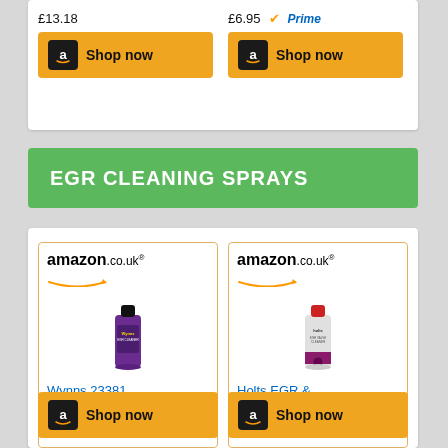[Figure (screenshot): Top of page showing two Amazon.co.uk product cards partially visible with prices £13.18 and £6.95 with Prime badge, and Shop now buttons]
EGR CLEANING SPRAYS
[Figure (screenshot): Amazon product listing card for Wynns 23381 Diesel EGR... priced at £7.99 with Prime badge and Shop now button]
[Figure (screenshot): Amazon product listing card for Holts EGR & Carb Cleaner... priced at £5.99 with Shop now button]